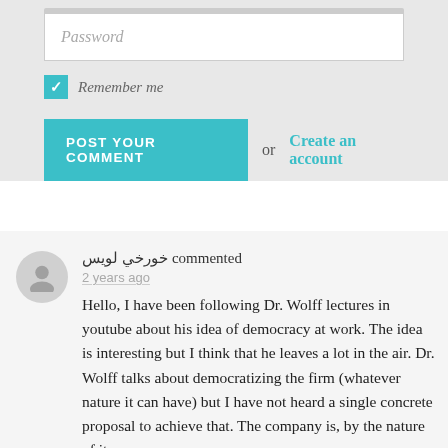[Figure (screenshot): Password input field with placeholder text 'Password']
Remember me
POST YOUR COMMENT  or  Create an account
خورخي لويس commented
2 years ago
Hello, I have been following Dr. Wolff lectures in youtube about his idea of democracy at work. The idea is interesting but I think that he leaves a lot in the air. Dr. Wolff talks about democratizing the firm (whatever nature it can have) but I have not heard a single concrete proposal to achieve that. The company is, by the nature of its